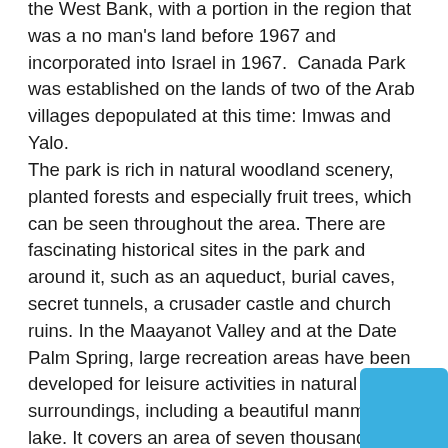the West Bank, with a portion in the region that was a no man's land before 1967 and incorporated into Israel in 1967.  Canada Park was established on the lands of two of the Arab villages depopulated at this time: Imwas and Yalo. The park is rich in natural woodland scenery, planted forests and especially fruit trees, which can be seen throughout the area. There are fascinating historical sites in the park and around it, such as an aqueduct, burial caves, secret tunnels, a crusader castle and church ruins. In the Maayanot Valley and at the Date Palm Spring, large recreation areas have been developed for leisure activities in natural surroundings, including a beautiful manmade lake. It covers an area of seven thousand dunams north of the Jerusalem – Tel Aviv highway, between Shaar Hagai and the Latrun